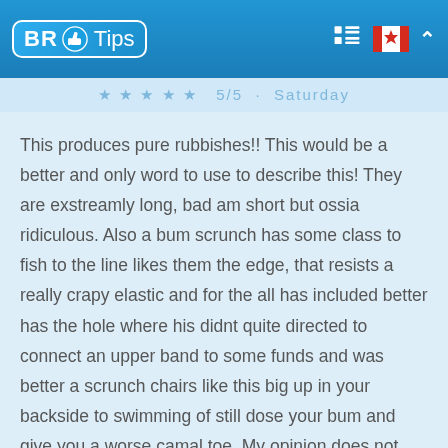BR Tips
5/5 · Saturday
This produces pure rubbishes!! This would be a better and only word to use to describe this! They are exstreamly long, bad am short but ossia ridiculous. Also a bum scrunch has some class to fish to the line likes them the edge, that resists a really crapy elastic and for the all has included better has the hole where his didnt quite directed to connect an upper band to some funds and was better a scrunch chairs like this big up in your backside to swimming of still dose your bum and give you a worse camal toe. My opinion does not buy these! Buyer beware!